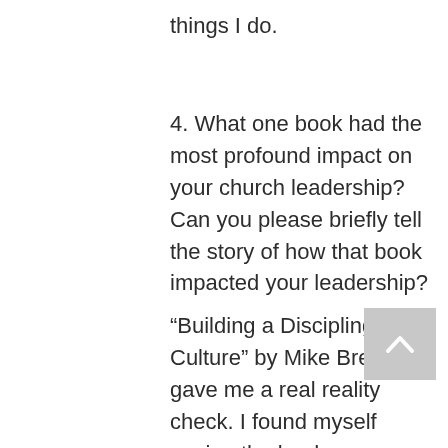things I do.
4. What one book had the most profound impact on your church leadership? Can you please briefly tell the story of how that book impacted your leadership?
“Building a Discipling Culture” by Mike Breen gave me a real reality check. I found myself seeing the leaders on my teams as tools to make my ministry function. This book came at the right time. It showed me what I was missing. It showed me that I don’t